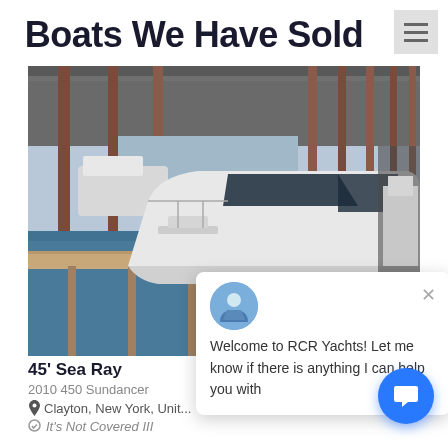Boats We Have Sold
[Figure (photo): A white motorboat/yacht docked inside a large covered marina with steel frame structure, water visible, other boats in background]
Welcome to RCR Yachts! Let me know if there is anything I can help you with
45' Sea Ray
2010 450 Sundancer
Clayton, New York, Unit...
It's Not Covered III